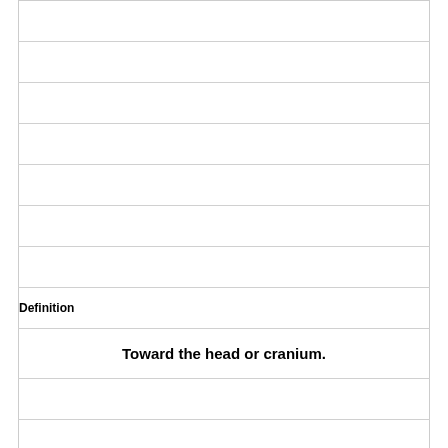| Definition |
| --- |
|  |
|  |
|  |
|  |
|  |
|  |
|  |
| Definition |
| Toward the head or cranium. |
|  |
|  |
|  |
|  |
|  |
|  |
|  |
|  |
|  |
|  |
| [shaded] |
| Term |
| Caudal |